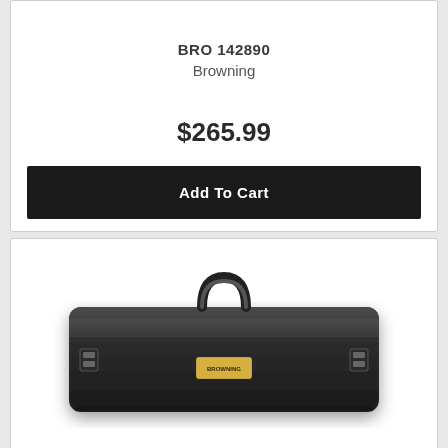BRO 142890
Browning
$265.99
Add To Cart
[Figure (photo): A black rectangular hard-shell gun/rifle case with a handle on top and a small gold Browning logo plate on the front. The case is long and flat with rounded corners and latch hardware visible on the sides.]